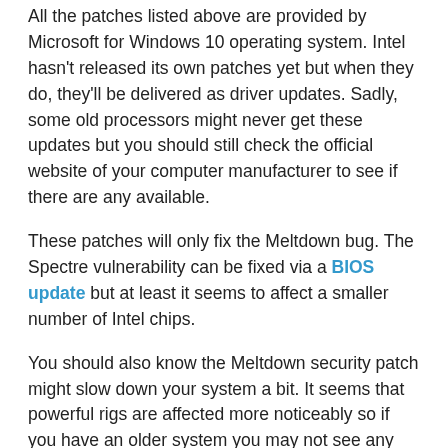All the patches listed above are provided by Microsoft for Windows 10 operating system. Intel hasn't released its own patches yet but when they do, they'll be delivered as driver updates. Sadly, some old processors might never get these updates but you should still check the official website of your computer manufacturer to see if there are any available.
These patches will only fix the Meltdown bug. The Spectre vulnerability can be fixed via a BIOS update but at least it seems to affect a smaller number of Intel chips.
You should also know the Meltdown security patch might slow down your system a bit. It seems that powerful rigs are affected more noticeably so if you have an older system you may not see any drop in performance.
Don't miss: How to install the BIOS Spectre update on your computer